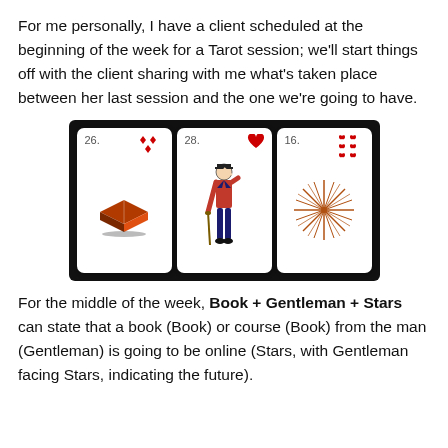For me personally, I have a client scheduled at the beginning of the week for a Tarot session; we'll start things off with the client sharing with me what's taken place between her last session and the one we're going to have.
[Figure (photo): Three Lenormand-style tarot/oracle cards displayed on a black background. Left card #26 shows a book with diamonds suit symbols at top. Middle card #28 shows a gentleman figure with a heart suit symbol at top. Right card #16 shows a starburst/star with hearts suit symbols at top.]
For the middle of the week, Book + Gentleman + Stars can state that a book (Book) or course (Book) from the man (Gentleman) is going to be online (Stars, with Gentleman facing Stars, indicating the future).